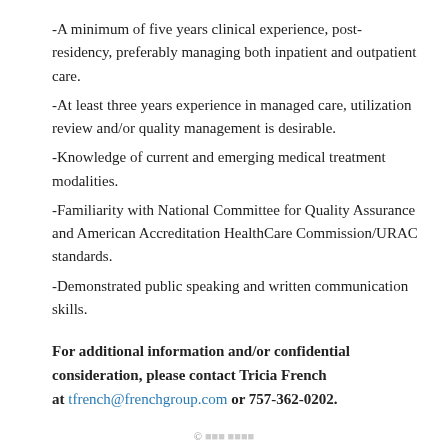-A minimum of five years clinical experience, post-residency, preferably managing both inpatient and outpatient care.
-At least three years experience in managed care, utilization review and/or quality management is desirable.
-Knowledge of current and emerging medical treatment modalities.
-Familiarity with National Committee for Quality Assurance and American Accreditation HealthCare Commission/URAC standards.
-Demonstrated public speaking and written communication skills.
For additional information and/or confidential consideration, please contact Tricia French at tfrench@frenchgroup.com or 757-362-0202.
© ...